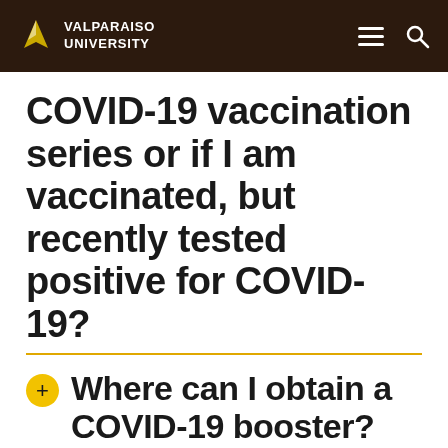VALPARAISO UNIVERSITY
COVID-19 vaccination series or if I am vaccinated, but recently tested positive for COVID-19?
Where can I obtain a COVID-19 booster?